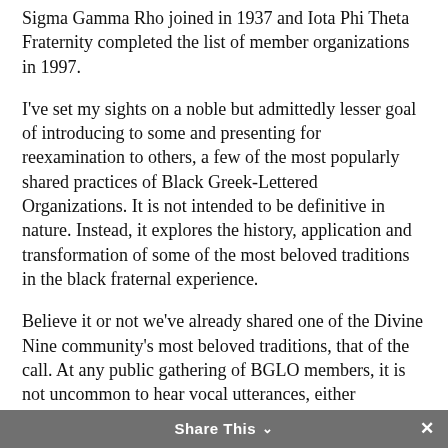Sigma Gamma Rho joined in 1937 and Iota Phi Theta Fraternity completed the list of member organizations in 1997.
I've set my sights on a noble but admittedly lesser goal of introducing to some and presenting for reexamination to others, a few of the most popularly shared practices of Black Greek-Lettered Organizations. It is not intended to be definitive in nature. Instead, it explores the history, application and transformation of some of the most beloved traditions in the black fraternal experience.
Believe it or not we've already shared one of the Divine Nine community's most beloved traditions, that of the call. At any public gathering of BGLO members, it is not uncommon to hear vocal utterances, either
Share This ∨  ✕